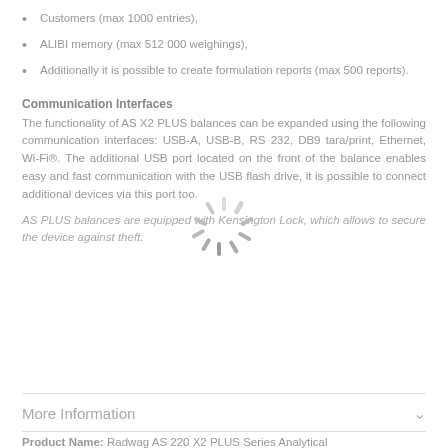Customers (max 1000 entries),
ALIBI memory (max 512 000 weighings),
Additionally it is possible to create formulation reports (max 500 reports).
Communication Interfaces
The functionality of AS X2 PLUS balances can be expanded using the following communication interfaces: USB-A, USB-B, RS 232, DB9 tara/print, Ethernet, Wi-Fi®. The additional USB port located on the front of the balance enables easy and fast communication with the USB flash drive, it is possible to connect additional devices via this port too.
AS PLUS balances are equipped with Kensington Lock, which allows to secure the device against theft.
More Information
Product Name: Radwag AS 220 X2 PLUS Series Analytical